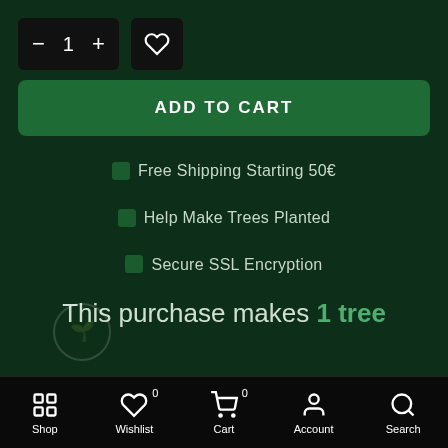[Figure (screenshot): Quantity selector with minus, 1, plus buttons and a wishlist heart button]
ADD TO CART
🟩 Free Shipping Starting 50€
🟩 Help Make Trees Planted
🟩 Secure SSL Encryption
This purchase makes 1 tree
Shop | Wishlist 0 | Cart 0 | Account | Search